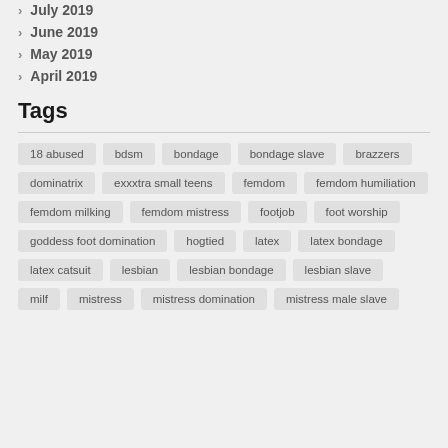July 2019
June 2019
May 2019
April 2019
Tags
18 abused, bdsm, bondage, bondage slave, brazzers, dominatrix, exxxtra small teens, femdom, femdom humiliation, femdom milking, femdom mistress, footjob, foot worship, goddess foot domination, hogtied, latex, latex bondage, latex catsuit, lesbian, lesbian bondage, lesbian slave, milf, mistress, mistress domination, mistress male slave